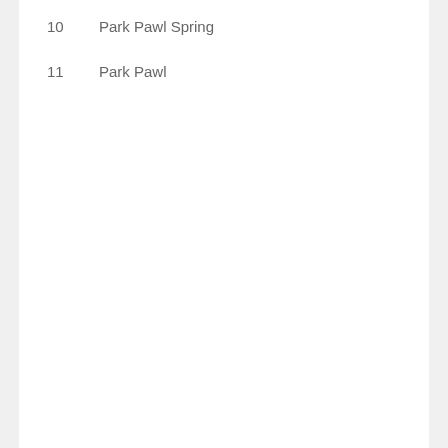10    Park Pawl Spring
11    Park Pawl